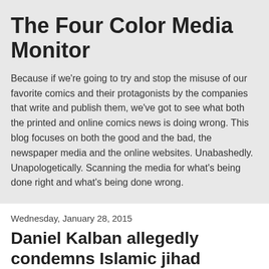The Four Color Media Monitor
Because if we're going to try and stop the misuse of our favorite comics and their protagonists by the companies that write and publish them, we've got to see what both the printed and online comics news is doing wrong. This blog focuses on both the good and the bad, the newspaper media and the online websites. Unabashedly. Unapologetically. Scanning the media for what's being done right and what's being done wrong.
Wednesday, January 28, 2015
Daniel Kalban allegedly condemns Islamic jihad against Jews
The comics and film writer Kalban wrote a few tweets condemning last week's attack on a bus in Tel Aviv: